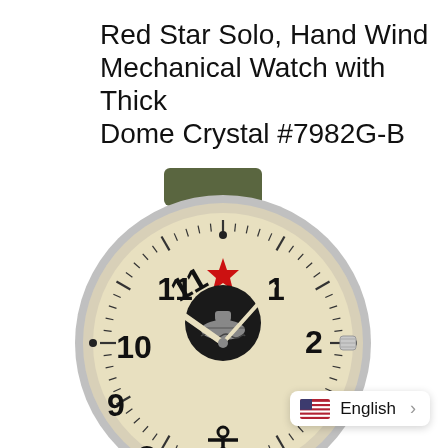Red Star Solo, Hand Wind Mechanical Watch with Thick Dome Crystal #7982G-B
[Figure (photo): Close-up photograph of a Red Star Solo mechanical wristwatch with a cream/beige dial, large Arabic numerals (1-11 visible), a red star at 12 o'clock, a black subdial with submarine logo around 12, an anchor symbol at 6 o'clock, white hands, silver case, and olive green strap. The watch crown is visible on the right side.]
English